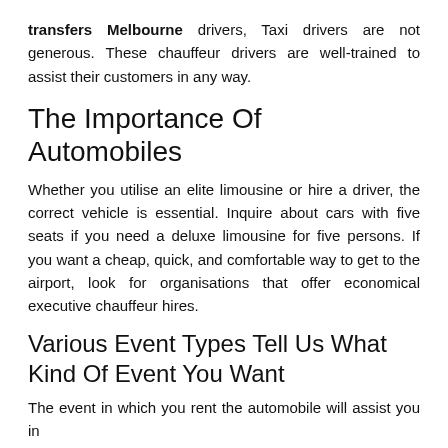transfers Melbourne drivers, Taxi drivers are not generous. These chauffeur drivers are well-trained to assist their customers in any way.
The Importance Of Automobiles
Whether you utilise an elite limousine or hire a driver, the correct vehicle is essential. Inquire about cars with five seats if you need a deluxe limousine for five persons. If you want a cheap, quick, and comfortable way to get to the airport, look for organisations that offer economical executive chauffeur hires.
Various Event Types Tell Us What Kind Of Event You Want
The event in which you rent the automobile will assist you in